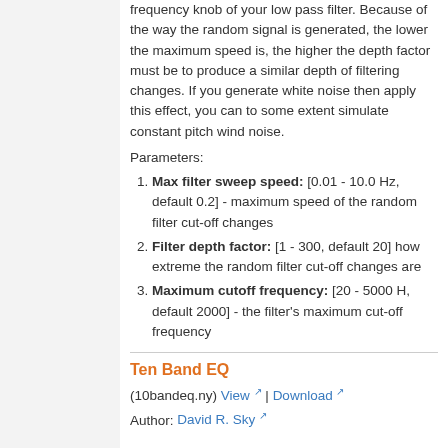frequency knob of your low pass filter. Because of the way the random signal is generated, the lower the maximum speed is, the higher the depth factor must be to produce a similar depth of filtering changes. If you generate white noise then apply this effect, you can to some extent simulate constant pitch wind noise.
Parameters:
Max filter sweep speed: [0.01 - 10.0 Hz, default 0.2] - maximum speed of the random filter cut-off changes
Filter depth factor: [1 - 300, default 20] how extreme the random filter cut-off changes are
Maximum cutoff frequency: [20 - 5000 H, default 2000] - the filter's maximum cut-off frequency
Ten Band EQ
(10bandeq.ny) View | Download
Author: David R. Sky